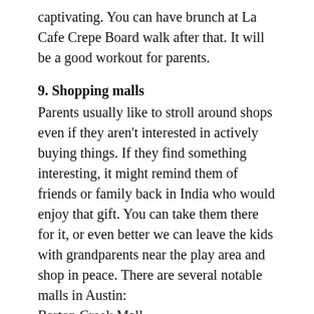captivating. You can have brunch at La Cafe Crepe Board walk after that. It will be a good workout for parents.
9. Shopping malls
Parents usually like to stroll around shops even if they aren't interested in actively buying things. If they find something interesting, it might remind them of friends or family back in India who would enjoy that gift. You can take them there for it, or even better we can leave the kids with grandparents near the play area and shop in peace. There are several notable malls in Austin:
Barton Creek Mall